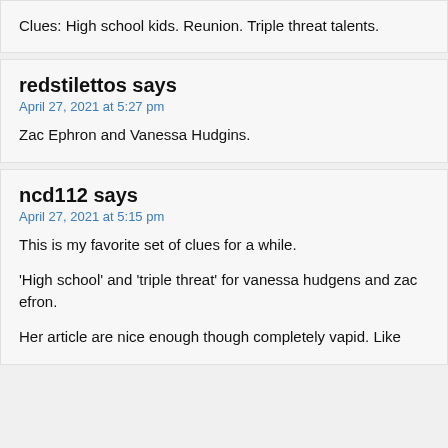Clues: High school kids. Reunion. Triple threat talents.
redstilettos says
April 27, 2021 at 5:27 pm
Zac Ephron and Vanessa Hudgins.
ncd112 says
April 27, 2021 at 5:15 pm
This is my favorite set of clues for a while.
'High school' and 'triple threat' for vanessa hudgens and zac efron.
Her article are nice enough though completely vapid. Like